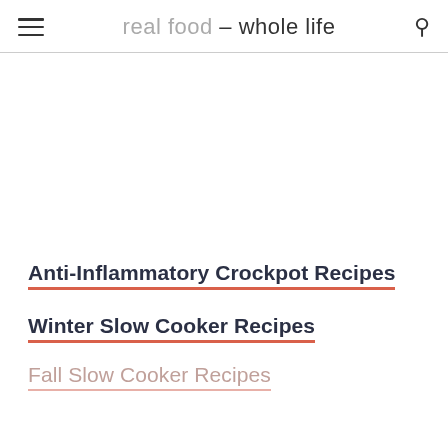real food – whole life
Anti-Inflammatory Crockpot Recipes
Winter Slow Cooker Recipes
Fall Slow Cooker Recipes